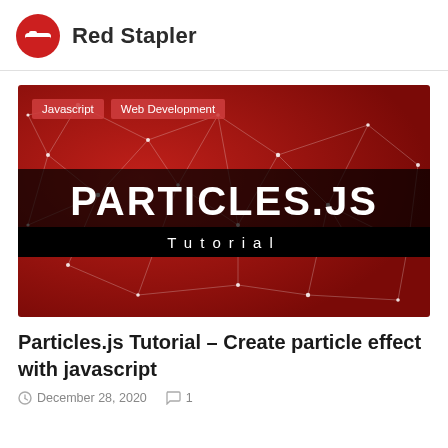Red Stapler
[Figure (screenshot): Blog post thumbnail image with red background showing a particle network effect (white dots connected by lines). Two red tags read 'Javascript' and 'Web Development'. Center shows large white bold text 'PARTICLES.JS' on a dark semi-transparent bar, below which a black bar reads 'Tutorial' in spaced white letters.]
Particles.js Tutorial – Create particle effect with javascript
December 28, 2020   1